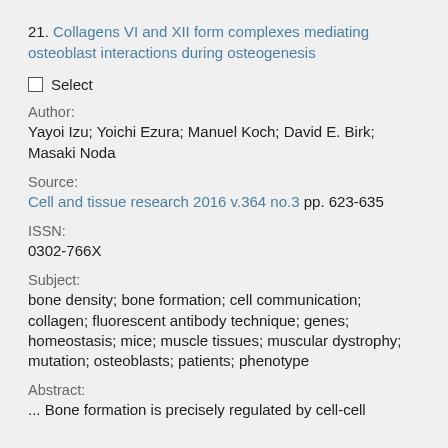21. Collagens VI and XII form complexes mediating osteoblast interactions during osteogenesis
Select
Author:
Yayoi Izu; Yoichi Ezura; Manuel Koch; David E. Birk; Masaki Noda
Source:
Cell and tissue research 2016 v.364 no.3 pp. 623-635
ISSN:
0302-766X
Subject:
bone density; bone formation; cell communication; collagen; fluorescent antibody technique; genes; homeostasis; mice; muscle tissues; muscular dystrophy; mutation; osteoblasts; patients; phenotype
Abstract:
... Bone formation is precisely regulated by cell-cell